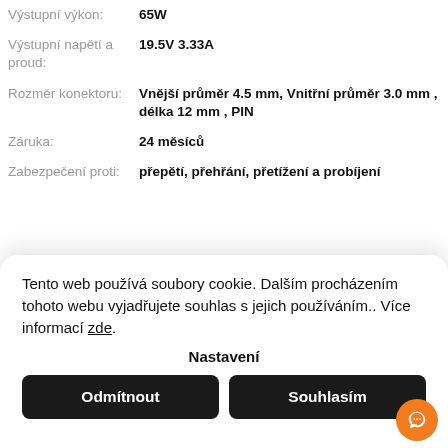| Vlastnost | Hodnota |
| --- | --- |
| Výstupní výkon: | 65W |
| Výstupní napětí a proud: | 19.5V 3.33A |
| Rozměr konektoru: | Vnější průměr 4.5 mm, Vnitřní průměr 3.0 mm , délka 12 mm , PIN |
| Záruka: | 24 měsíců |
| Zabezpečení proti: | přepětí, přehřání, přetížení a probíjení |
Tento web používá soubory cookie. Dalším procházením tohoto webu vyjadřujete souhlas s jejich používáním.. Více informací zde.
Nastavení
Odmítnout
Souhlasím